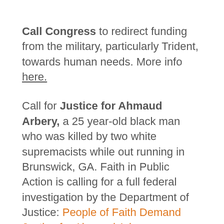Call Congress to redirect funding from the military, particularly Trident, towards human needs. More info here.
Call for Justice for Ahmaud Arbery, a 25 year-old black man who was killed by two white supremacists while out running in Brunswick, GA. Faith in Public Action is calling for a full federal investigation by the Department of Justice: People of Faith Demand Justice for Ahmaud Arbery
Beyond Trident of South Coastal, GA is the successor of the plowshares support